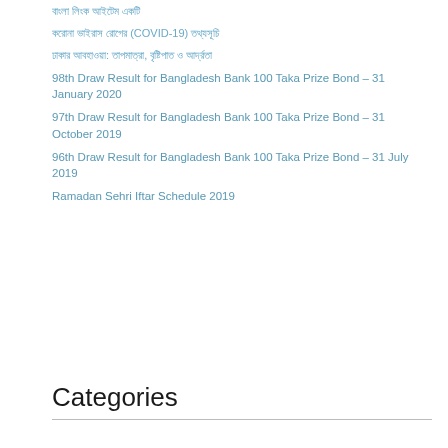বাংলা লিংক আইটেম একটি
করোনা ভাইরাস রোগের (COVID-19) তথ্যসূচি
ঢাকার আবহাওয়া: তাপমাত্রা, বৃষ্টিপাত ও আর্দ্রতা
98th Draw Result for Bangladesh Bank 100 Taka Prize Bond – 31 January 2020
97th Draw Result for Bangladesh Bank 100 Taka Prize Bond – 31 October 2019
96th Draw Result for Bangladesh Bank 100 Taka Prize Bond – 31 July 2019
Ramadan Sehri Iftar Schedule 2019
Categories